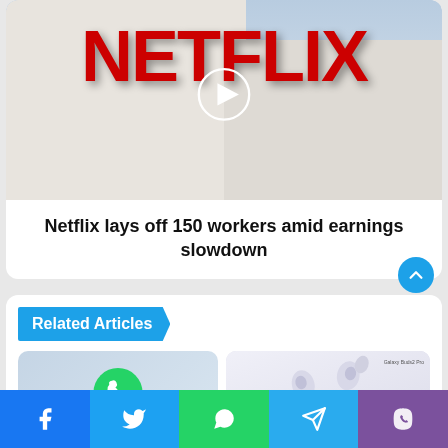[Figure (photo): Netflix building exterior with large red NETFLIX letters on white facade, blue sky background, with a circular white play button overlay in the center]
Netflix lays off 150 workers amid earnings slowdown
Related Articles
[Figure (photo): WhatsApp green logo icon on light blue background]
[Figure (photo): Samsung Galaxy Buds2 Pro wireless earbuds in lavender/white color on light purple background with Galaxy Buds2 Pro label]
Facebook | Twitter | WhatsApp | Telegram | Viber social sharing bar